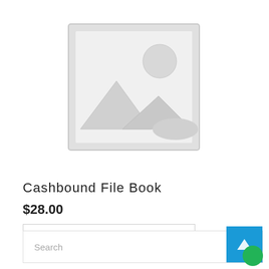[Figure (illustration): Placeholder product image — gray frame with mountain/landscape silhouette and circle (sun), light gray fill]
Cashbound File Book
$28.00
ADD TO CART
Search